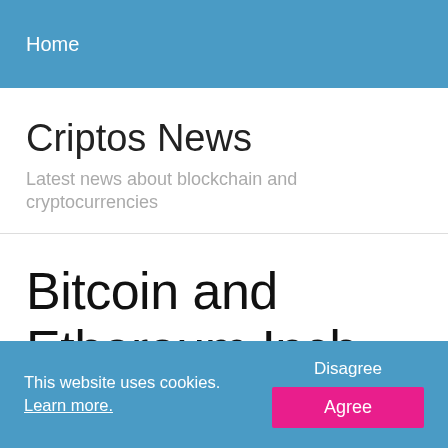Home
Criptos News
Latest news about blockchain and cryptocurrencies
Bitcoin and Ethereum Inch Higher, ATOM and
This website uses cookies. Learn more.
Disagree
Agree